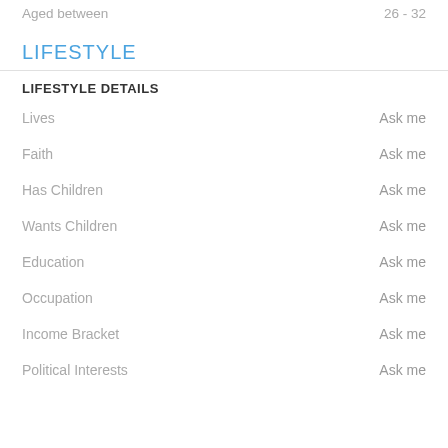Aged between   26 - 32
LIFESTYLE
LIFESTYLE DETAILS
Lives   Ask me
Faith   Ask me
Has Children   Ask me
Wants Children   Ask me
Education   Ask me
Occupation   Ask me
Income Bracket   Ask me
Political Interests   Ask me